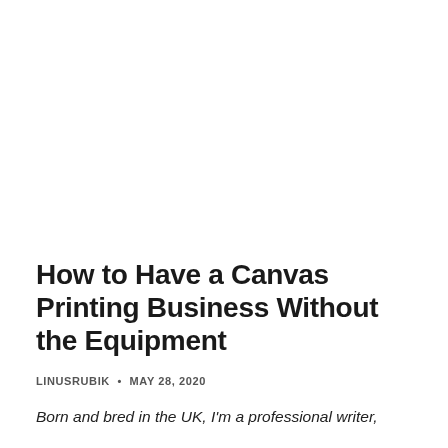How to Have a Canvas Printing Business Without the Equipment
LINUSRUBIK • MAY 28, 2020
Born and bred in the UK, I'm a professional writer,